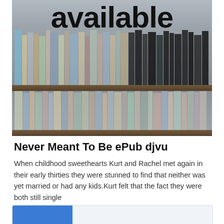[Figure (photo): A bookshelf filled with books of various colors and sizes, with the word 'available' displayed prominently in large bold black text over the image.]
Never Meant To Be ePub djvu
When childhood sweethearts Kurt and Rachel met again in their early thirties they were stunned to find that neither was yet married or had any kids.Kurt felt that the fact they were both still single
[Figure (other): A card element at the bottom with a blue button on the left side.]